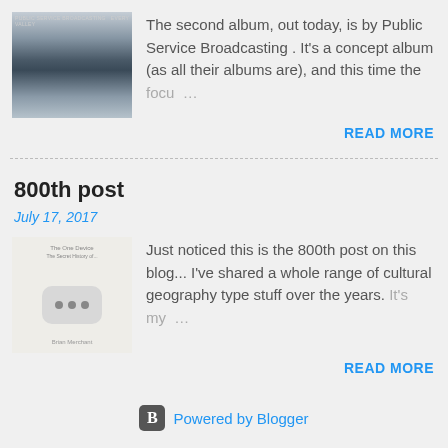[Figure (photo): Album cover for Public Service Broadcasting, grayscale image of industrial/railway scene]
The second album, out today, is by Public Service Broadcasting . It's a concept album (as all their albums are), and this time the focu…
READ MORE
800th post
July 17, 2017
[Figure (photo): Photo of a book cover showing speech bubble with three dots, author name below]
Just noticed this is the 800th post on this blog... I've shared a whole range of cultural geography type stuff over the years. It's my…
READ MORE
Powered by Blogger